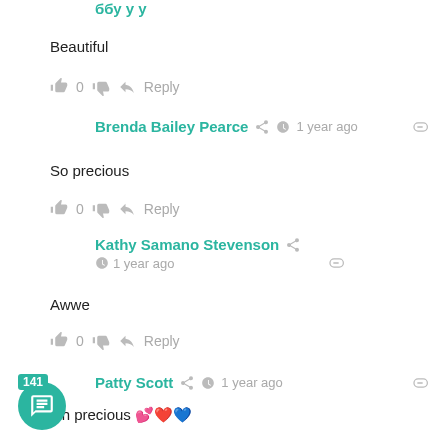Beautiful
👍 0 👎 ➜ Reply
Brenda Bailey Pearce  ⏱ 1 year ago  🔗
So precious
👍 0 👎 ➜ Reply
Kathy Samano Stevenson  ⏱ 1 year ago  🔗
Awwe
👍 0 👎 ➜ Reply
Patty Scott  ⏱ 1 year ago  🔗
Oh precious 💕❤️💙
👍 0 👎 ➜ Reply